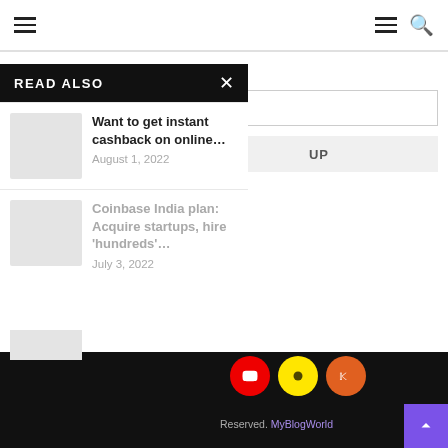Navigation bar with hamburger menu and search icon
Email address:
READ ALSO
Want to get instant cashback on online...
August 1, 2022
Coinbase India plan: Acquire startups, hire 'hundreds'...
July 3, 2022
SIGN UP
Reserved. MyBlogWorld